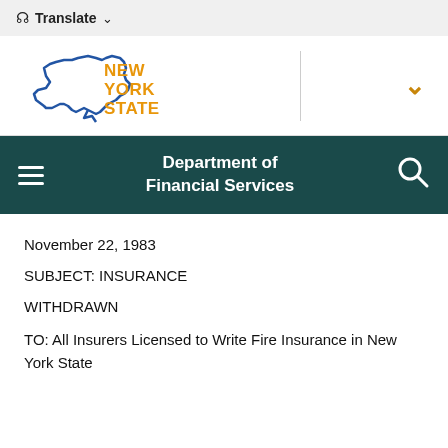🌐 Translate ∨
[Figure (logo): New York State logo with outline of New York State in blue and 'NEW YORK STATE' in orange text]
Department of Financial Services
November 22, 1983
SUBJECT: INSURANCE
WITHDRAWN
TO: All Insurers Licensed to Write Fire Insurance in New York State